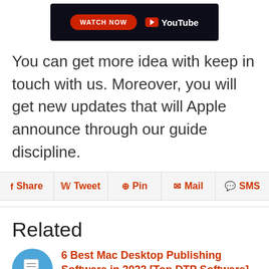[Figure (other): YouTube Watch Now banner with red button and YouTube logo on dark background]
You can get more idea with keep in touch with us. Moreover, you will get new updates that will Apple announce through our guide discipline.
Share  Tweet  Pin  Mail  SMS
Related
6 Best Mac Desktop Publishing Software in 2022 [Top DTP Software]
Get here Paid and Free best DTP Software for Mac computers for Home and business